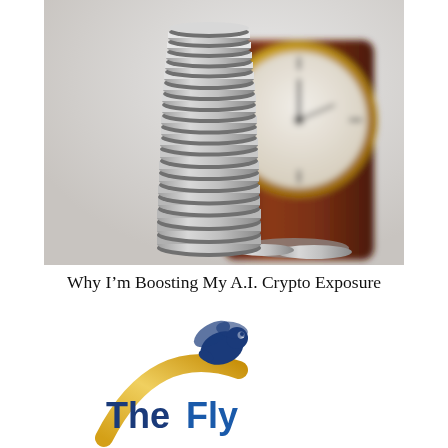[Figure (photo): A tall stack of silver coins in front of a blurred clock on a dark wooden base, suggesting the concept of saving money over time or crypto/investment timing.]
Why I’m Boosting My A.I. Crypto Exposure
[Figure (logo): The Fly logo: a cartoon bee with a gold swooping arc, dark navy blue text reading 'The Fly']